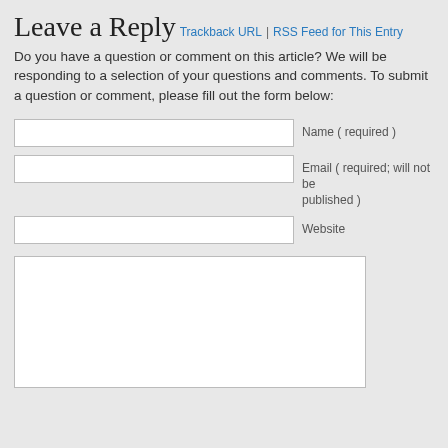Leave a Reply
Trackback URL | RSS Feed for This Entry
Do you have a question or comment on this article? We will be responding to a selection of your questions and comments. To submit a question or comment, please fill out the form below:
Name ( required )
Email ( required; will not be published )
Website